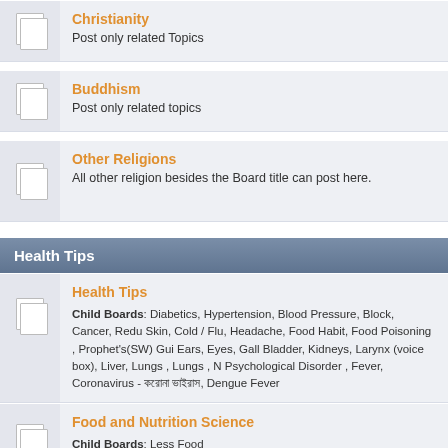Christianity
Post only related Topics
Buddhism
Post only related topics
Other Religions
All other religion besides the Board title can post here.
Health Tips
Health Tips
Child Boards: Diabetics, Hypertension, Blood Pressure, Block, Cancer, Redu Skin, Cold / Flu, Headache, Food Habit, Food Poisoning , Prophet's(SW) Gui Ears, Eyes, Gall Bladder, Kidneys, Larynx (voice box), Liver, Lungs , Lungs , N Psychological Disorder , Fever, Coronavirus - করোনা ভাইরাস, Dengue Fever
Food and Nutrition Science
Child Boards: Less Food